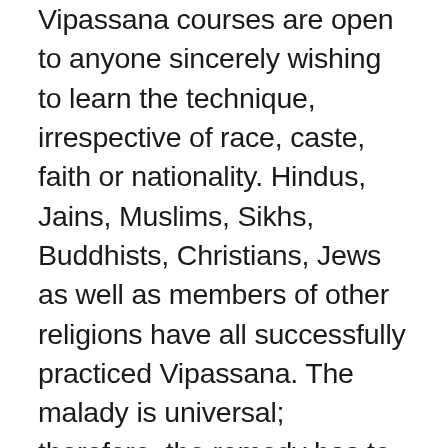Vipassana courses are open to anyone sincerely wishing to learn the technique, irrespective of race, caste, faith or nationality. Hindus, Jains, Muslims, Sikhs, Buddhists, Christians, Jews as well as members of other religions have all successfully practiced Vipassana. The malady is universal; therefore, the remedy has to be universal. For example, when we experience anger, this anger is not Hindu anger or Christian anger, Chinese anger or American anger. Similarly, love and compassion are not the strict province of any...